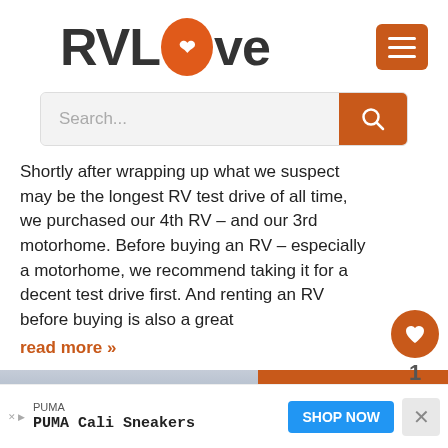[Figure (logo): RVLove logo with orange circle replacing the O, containing a heart symbol. Menu hamburger button in orange on the right.]
[Figure (screenshot): Search bar with placeholder text 'Search...' and orange search button with magnifying glass icon.]
Shortly after wrapping up what we suspect may be the longest RV test drive of all time, we purchased our 4th RV – and our 3rd motorhome. Before buying an RV – especially a motorhome, we recommend taking it for a decent test drive first. And renting an RV before buying is also a great
read more »
[Figure (photo): Photo of a person wearing sunglasses in front of an RV motorhome, with orange banner text 'We rented an RV and drove 8,500']
[Figure (screenshot): Advertisement bar: PUMA logo, PUMA Cali Sneakers product, SHOP NOW blue button, close X button]